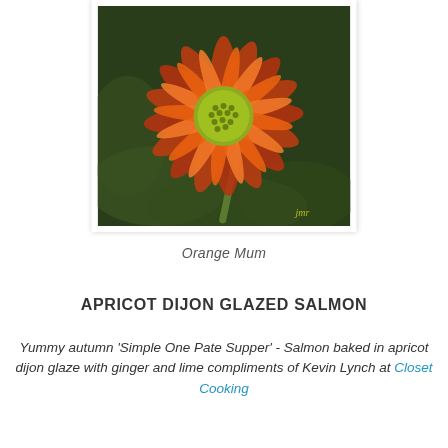[Figure (photo): Close-up photograph of an orange and red chrysanthemum (mum) flower with a yellow-green center, on a dark green leafy background. Watermark 'jmr' in yellow at bottom right.]
Orange Mum
APRICOT DIJON GLAZED SALMON
Yummy autumn 'Simple One Pate Supper' - Salmon baked in apricot dijon glaze with ginger and lime compliments of Kevin Lynch at Closet Cooking